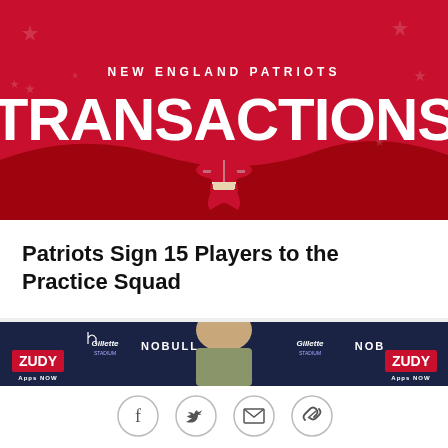[Figure (infographic): New England Patriots Transactions banner — red background with star pattern, large white bold text reading 'TRANSACTIONS' with 'NEW ENGLAND PATRIOTS' above it and the Patriots logo (Flying Elvis) below]
Patriots Sign 15 Players to the Practice Squad
[Figure (photo): Press conference photo showing a person at a podium with sponsor logos including Gillette Stadium, NOBULL, ZUDY Apps NOW in the background]
[Figure (infographic): Social share icons row: Facebook, Twitter, email/envelope, and link/paperclip icons in circle outlines]